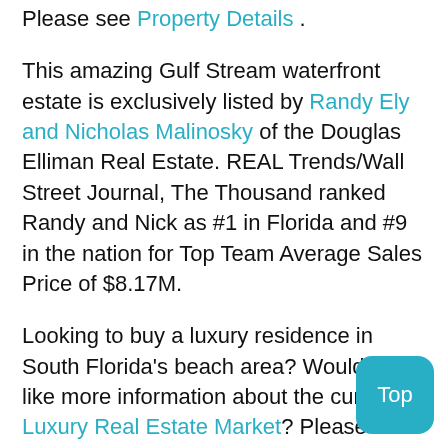Please see Property Details .
This amazing Gulf Stream waterfront estate is exclusively listed by Randy Ely and Nicholas Malinosky of the Douglas Elliman Real Estate. REAL Trends/Wall Street Journal, The Thousand ranked Randy and Nick as #1 in Florida and #9 in the nation for Top Team Average Sales Price of $8.17M.
Looking to buy a luxury residence in South Florida's beach area? Would you like more information about the current Luxury Real Estate Market? Please contact Randy Ely and Nicholas Malinosky, the #1 Luxury Team in the Beach Area.